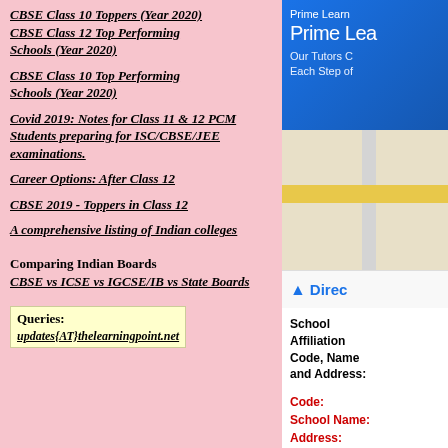CBSE Class 10 Toppers (Year 2020)
CBSE Class 12 Top Performing Schools (Year 2020)
CBSE Class 10 Top Performing Schools (Year 2020)
Covid 2019: Notes for Class 11 & 12 PCM Students preparing for ISC/CBSE/JEE examinations.
Career Options: After Class 12
CBSE 2019 - Toppers in Class 12
A comprehensive listing of Indian colleges
Comparing Indian Boards
CBSE vs ICSE vs IGCSE/IB vs State Boards
Queries:
updates{AT}thelearningpoint.net
[Figure (other): Prime Learn advertisement banner with blue background]
[Figure (map): Google Maps partial screenshot showing road intersection]
School Affiliation Code, Name and Address:
Code:
School Name:
Address: